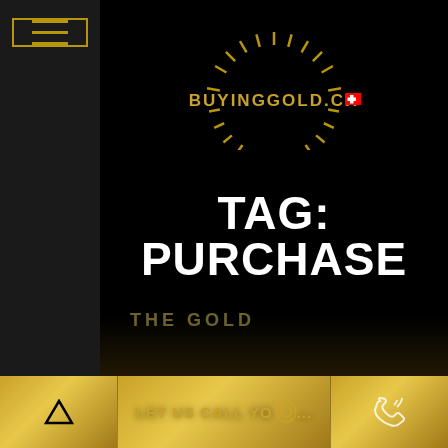[Figure (logo): BUYINGGOLD.CH logo with radial sun lines decoration and Swiss flag icon]
TAG: PURCHASE
THE GOLD
LET US CALL YOU...